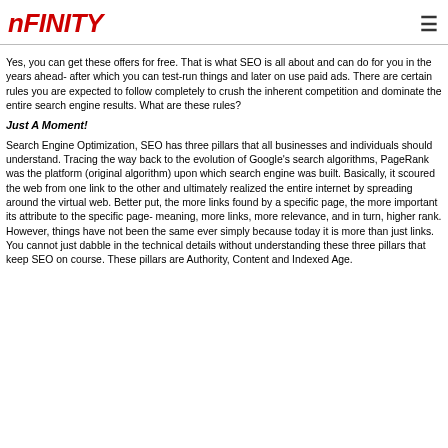NFINITY
Yes, you can get these offers for free. That is what SEO is all about and can do for you in the years ahead- after which you can test-run things and later on use paid ads. There are certain rules you are expected to follow completely to crush the inherent competition and dominate the entire search engine results. What are these rules?
Just A Moment!
Search Engine Optimization, SEO has three pillars that all businesses and individuals should understand. Tracing the way back to the evolution of Google's search algorithms, PageRank was the platform (original algorithm) upon which search engine was built. Basically, it scoured the web from one link to the other and ultimately realized the entire internet by spreading around the virtual web. Better put, the more links found by a specific page, the more important its attribute to the specific page- meaning, more links, more relevance, and in turn, higher rank. However, things have not been the same ever simply because today it is more than just links. You cannot just dabble in the technical details without understanding these three pillars that keep SEO on course. These pillars are Authority, Content and Indexed Age.